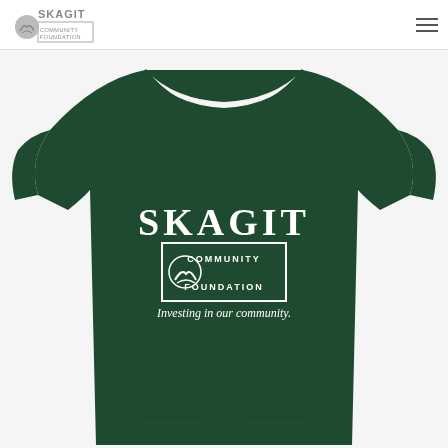[Figure (logo): Skagit Community Foundation logo in gray/silver tones with bird/wave graphic]
[Figure (photo): Dark green t-shirt with Skagit Community Foundation logo and text 'Investing in our community.' printed in white on the chest area]